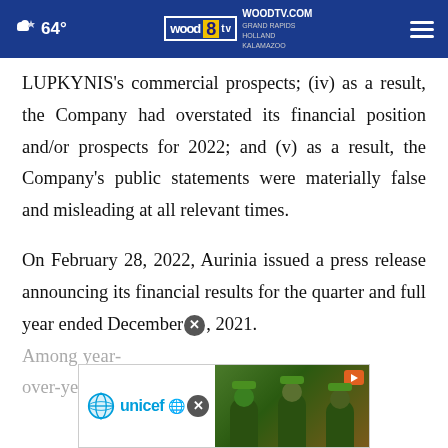64° WOODTV.COM GRAND RAPIDS HOLLAND KALAMAZOO wood 8 tv
LUPKYNIS's commercial prospects; (iv) as a result, the Company had overstated its financial position and/or prospects for 2022; and (v) as a result, the Company's public statements were materially false and misleading at all relevant times.
On February 28, 2022, Aurinia issued a press release announcing its financial results for the quarter and full year ended December 31, 2021. Among [year-over-year revenue decline and announced a]
[Figure (other): UNICEF advertisement overlay with close button and photo of children in green caps]